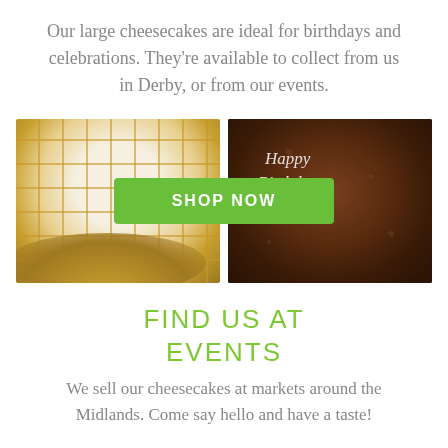Our large cheesecakes are ideal for birthdays and celebrations. They're available to collect from us in Derby, or from our events.
[Figure (photo): Two photos side by side: left shows a white cheesecake with caramel drizzle grid pattern on top; right shows a chocolate cheesecake with crumble topping and 'Happy Birthday Laura' written in white icing. A green 'SHOP NOW' button overlays the center of both photos.]
FIND US AT EVENTS
We sell our cheesecakes at markets around the Midlands. Come say hello and have a taste!